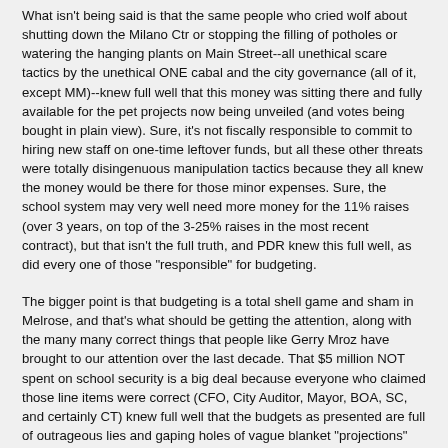What isn't being said is that the same people who cried wolf about shutting down the Milano Ctr or stopping the filling of potholes or watering the hanging plants on Main Street--all unethical scare tactics by the unethical ONE cabal and the city governance (all of it, except MM)--knew full well that this money was sitting there and fully available for the pet projects now being unveiled (and votes being bought in plain view). Sure, it's not fiscally responsible to commit to hiring new staff on one-time leftover funds, but all these other threats were totally disingenuous manipulation tactics because they all knew the money would be there for those minor expenses. Sure, the school system may very well need more money for the 11% raises (over 3 years, on top of the 3-25% raises in the most recent contract), but that isn't the full truth, and PDR knew this full well, as did every one of those "responsible" for budgeting.
The bigger point is that budgeting is a total shell game and sham in Melrose, and that's what should be getting the attention, along with the many many correct things that people like Gerry Mroz have brought to our attention over the last decade. That $5 million NOT spent on school security is a big deal because everyone who claimed those line items were correct (CFO, City Auditor, Mayor, BOA, SC, and certainly CT) knew full well that the budgets as presented are full of outrageous lies and gaping holes of vague blanket "projections" instead of actual truthful numbers. Melrose city administration lies through its proverbial teeth, and they do it with the full support of the SC and BOA, meaning there are in effect zero checks and balances coming from that direction. The public is the only check or balance left, and except for Gerry and a handful of others, Melrose is pathetic and needs to clean up its act.